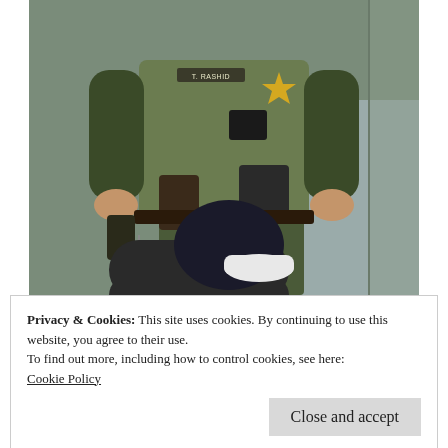[Figure (photo): A law enforcement officer (sheriff deputy, name tag reads T. RASHID) in dark olive/green uniform with body armor vest and gold star badge, holding what appears to be a small device or container in both hands. A gun holster, belt with equipment, and keys are visible. In the foreground, a person in a dark hoodie is partially visible. Background shows a concrete surface and chain-link fence.]
Privacy & Cookies: This site uses cookies. By continuing to use this website, you agree to their use.
To find out more, including how to control cookies, see here:
Cookie Policy
Close and accept
Off...